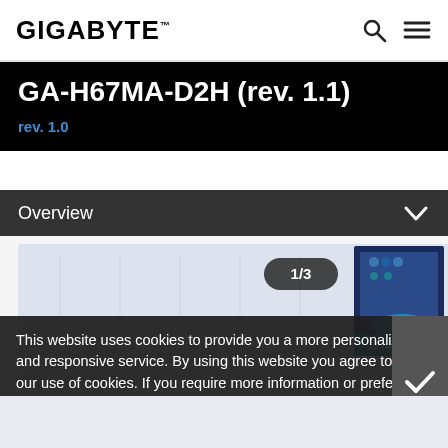GIGABYTE™
GA-H67MA-D2H (rev. 1.1)
rev. 1.0
Overview
[Figure (photo): Gigabyte GA-H67MA-D2H motherboard product image with 1/3 badge and 3D Industry watermark, plus product thumbnail on right]
This website uses cookies to provide you a more personalized and responsive service. By using this website you agree to our use of cookies. If you require more information or prefer not to accept cookies please visit our Privacy Policy.